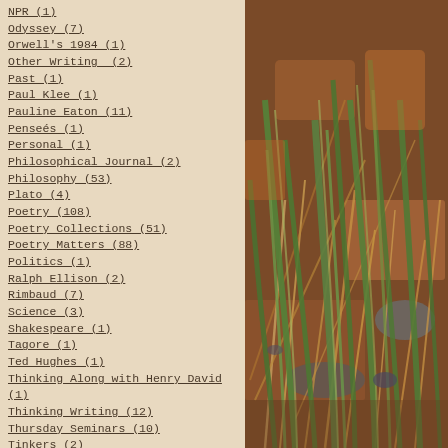NPR (1)
Odyssey (7)
Orwell's 1984 (1)
Other Writing  (2)
Past (1)
Paul Klee (1)
Pauline Eaton (11)
Pensees (1)
Personal (1)
Philosophical Journal (2)
Philosophy (53)
Plato (4)
Poetry (108)
Poetry Collections (51)
Poetry Matters (88)
Politics (1)
Ralph Ellison (2)
Rimbaud (7)
Science (3)
Shakespeare (1)
Tagore (1)
Ted Hughes (1)
Thinking Along with Henry David (1)
Thinking Writing (12)
Thursday Seminars (10)
Tinkers (2)
[Figure (photo): Close-up photograph of green grass blades and dry brown stalks against reddish-brown soil and rocks]